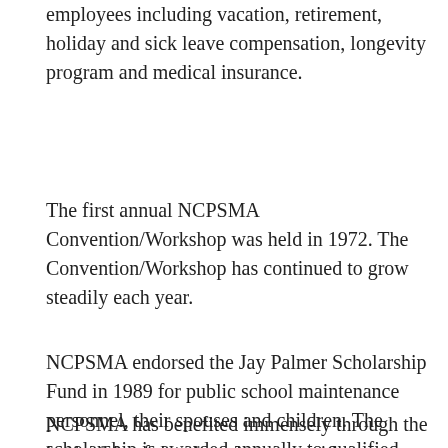employees including vacation, retirement, holiday and sick leave compensation, longevity program and medical insurance.
The first annual NCPSMA Convention/Workshop was held in 1972. The Convention/Workshop has continued to grow steadily each year.
NCPSMA endorsed the Jay Palmer Scholarship Fund in 1989 for public school maintenance personnel, their spouses and children. The scholarship is awarded annually to qualified recipients enrolled in institutions of higher learning.
NCPSMA has benefited immensely through the leadership of the elected state presidents. Listed below are the state presidents who have served NCPSMA...